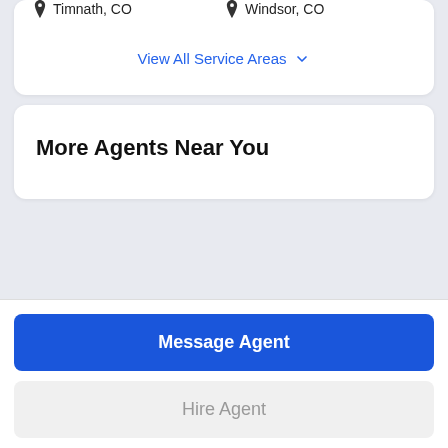Timnath, CO
Windsor, CO
View All Service Areas
More Agents Near You
Message Agent
Hire Agent